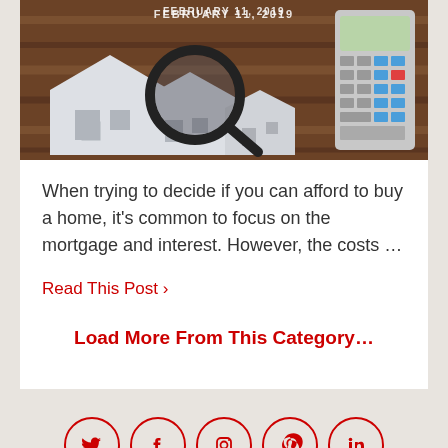[Figure (photo): Photo of white paper house cutouts on a wooden background with a magnifying glass and calculator, with date overlay FEBRUARY 11, 2019]
When trying to decide if you can afford to buy a home, it's common to focus on the mortgage and interest. However, the costs …
Read This Post ›
Load More From This Category…
[Figure (infographic): Social media icon buttons: Twitter, Facebook, Instagram, Pinterest, LinkedIn — red circle outlines with icons]
⌃ Back to top